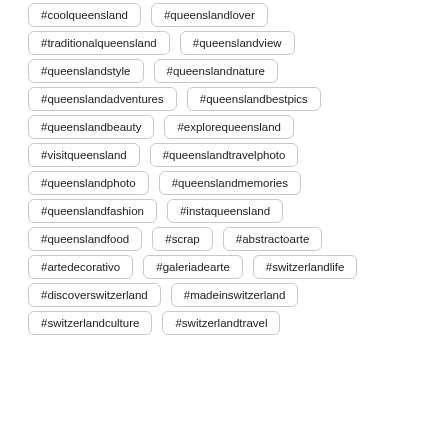#coolqueensland
#queenslandlover
#traditionalqueensland
#queenslandview
#queenslandstyle
#queenslandnature
#queenslandadventures
#queenslandbestpics
#queenslandbeauty
#explorequeensland
#visitqueensland
#queenslandtravelphoto
#queenslandphoto
#queenslandmemories
#queenslandfashion
#instaqueensland
#queenslandfood
#scrap
#abstractoarte
#artedecorativo
#galeriadearte
#switzerlandlife
#discoverswitzerland
#madeinswitzerland
#switzerlandculture
#switzerlandtravel